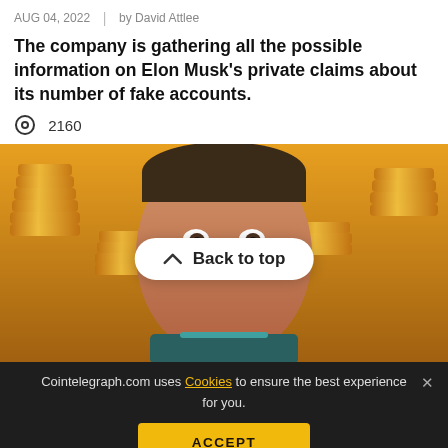AUG 04, 2022 | by David Attlee
The company is gathering all the possible information on Elon Musk's private claims about its number of fake accounts.
2160
[Figure (illustration): Illustrated image of Elon Musk with stacks of gold coins in the background. A 'Back to top' button overlay appears in the center of the image.]
Cointelegraph.com uses Cookies to ensure the best experience for you.
ACCEPT
Crypto Biz: Elon Musk: The ultimate crypto tourist
Jul 29, 2022 | by Sam...
Tesla's forays into Bitcoin has always been a subject matter of